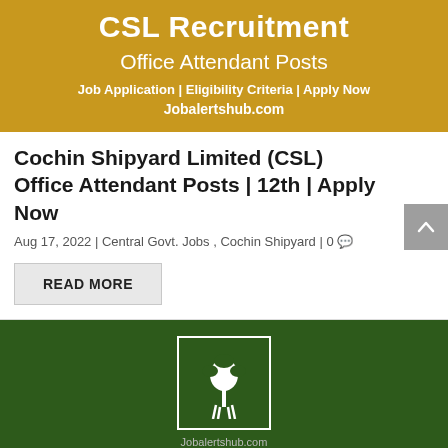[Figure (infographic): CSL Recruitment banner with golden/mustard background showing 'CSL Recruitment', 'Office Attendant Posts', 'Job Application | Eligibility Criteria | Apply Now', 'Jobalertshub.com']
Cochin Shipyard Limited (CSL) Office Attendant Posts | 12th | Apply Now
Aug 17, 2022 | Central Govt. Jobs , Cochin Shipyard | 0
READ MORE
[Figure (infographic): WII Recruitment banner with dark green background showing WII logo (deer with tree in white bordered box), 'Jobalertshub.com' watermark, and 'WII Recruitment' text in white]